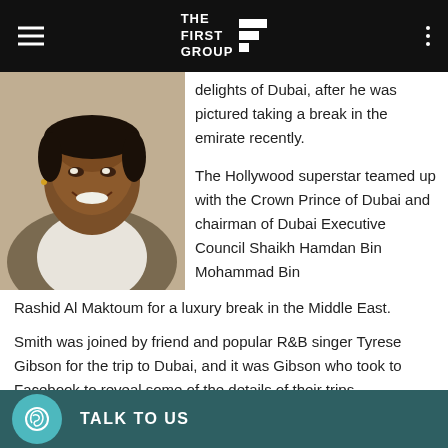THE FIRST GROUP
[Figure (photo): Smiling man in casual clothing, headshot photo]
delights of Dubai, after he was pictured taking a break in the emirate recently.

The Hollywood superstar teamed up with the Crown Prince of Dubai and chairman of Dubai Executive Council Shaikh Hamdan Bin Mohammad Bin Rashid Al Maktoum for a luxury break in the Middle East.

Smith was joined by friend and popular R&B singer Tyrese Gibson for the trip to Dubai, and it was Gibson who took to Facebook to reveal some of the details of their trips.
TALK TO US